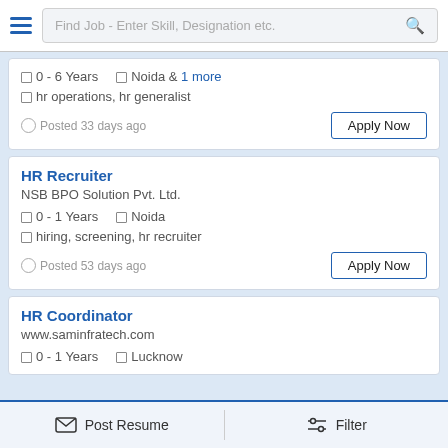[Figure (screenshot): Top navigation bar with hamburger menu icon and job search input field with placeholder 'Find Job - Enter Skill, Designation etc.' and a search icon]
0 - 6 Years   Noida & 1 more
hr operations, hr generalist
Posted 33 days ago
Apply Now
HR Recruiter
NSB BPO Solution Pvt. Ltd.
0 - 1 Years   Noida
hiring, screening, hr recruiter
Posted 53 days ago
Apply Now
HR Coordinator
www.saminfratech.com
0 - 1 Years   Lucknow
Post Resume   Filter